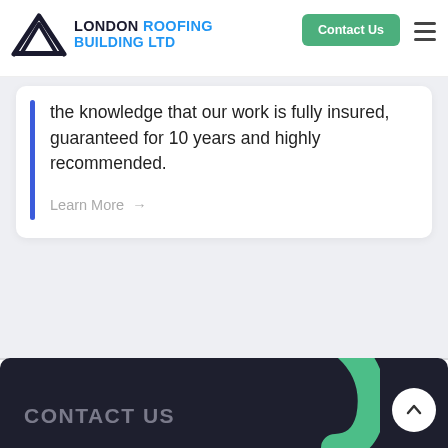[Figure (logo): London Roofing Building Ltd logo with house/roof icon and company name]
the knowledge that our work is fully insured, guaranteed for 10 years and highly recommended.
Learn More →
CONTACT US